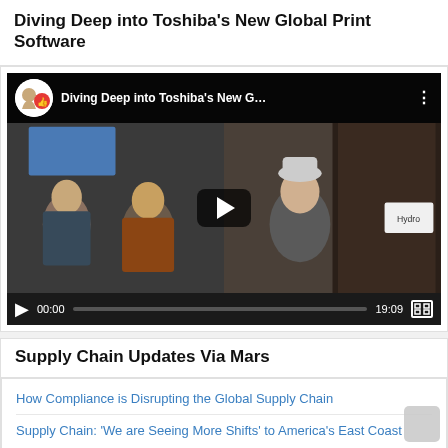Diving Deep into Toshiba’s New Global Print Software
[Figure (screenshot): Embedded YouTube video player showing 'Diving Deep into Toshiba’s New G...' with channel avatar, three people in a video conference, play button overlay, progress bar showing 00:00 / 19:09, and fullscreen button.]
Supply Chain Updates Via Mars
How Compliance is Disrupting the Global Supply Chain
Supply Chain: ‘We are Seeing More Shifts’ to America’s East Coast